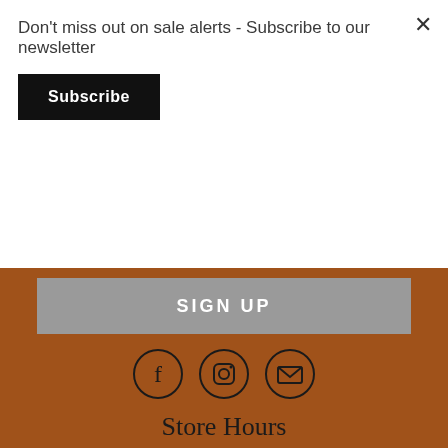Don't miss out on sale alerts - Subscribe to our newsletter
Subscribe
SIGN UP
[Figure (illustration): Three social media icons in circles: Facebook (f), Instagram (camera), Email (envelope)]
Store Hours
Store Hours
| Mon – Fri | 10am–6pm |
| Saturday | 10am-5pm |
| Sunday | CLOSED |
Back to the top